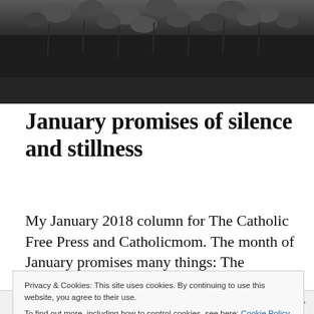[Figure (photo): Dark moody photo showing what appears to be birds or silhouettes against a dark background at the top of the page]
January promises of silence and stillness
My January 2018 column for The Catholic Free Press and Catholicmom. The month of January promises many things: The emotional letdown after Christmas. The return
Privacy & Cookies: This site uses cookies. By continuing to use this website, you agree to their use.
To find out more, including how to control cookies, see here: Cookie Policy
Close and accept
Follow